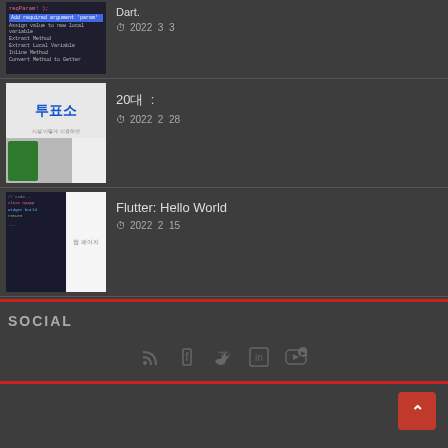[Figure (screenshot): Thumbnail showing code editor with blue highlighted line and menu options including 'Add required argument param', 'Assign value to new local variable', 'Extract Method', 'Extract Local Variable', 'Inline Method', 'Convert Method to Getter']
Dart.
2022  3  3
[Figure (photo): Thumbnail showing a polling station (투표소) sign with a person holding a green passport-like booklet, and a white inset panel with Korean text]
20대  :
2022  2  28
[Figure (screenshot): Thumbnail showing code editor on left half and white page on right half with Korean text '웹 페이지']
Flutter: Hello World
2022  2  15
SOCIAL
[Figure (infographic): Social media icons: RSS, Facebook, Twitter, LinkedIn, YouTube]